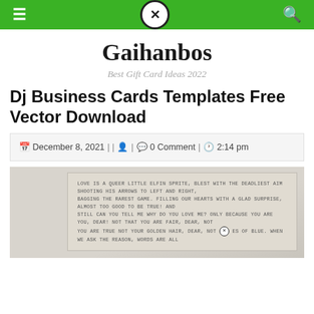Navigation bar with menu, close, and search icons
Gaihanbos
Best Gift Card Ideas 2022
Dj Business Cards Templates Free Vector Download
December 8, 2021 | | | 0 Comment | 2:14 pm
[Figure (photo): A business card with printed text: Love is a queer little elfin sprite, blest with the deadliest aim shooting his arrows to left and right, bagging the rarest game. Filling our hearts with a glad surprise, almost too good to be true! And still can you tell me why do you love me? Only because you are you, dear! Not that you are fair, dear, not you are true not your golden hair, dear, not [eyes] of blue. When we ask the reason, words are all...]